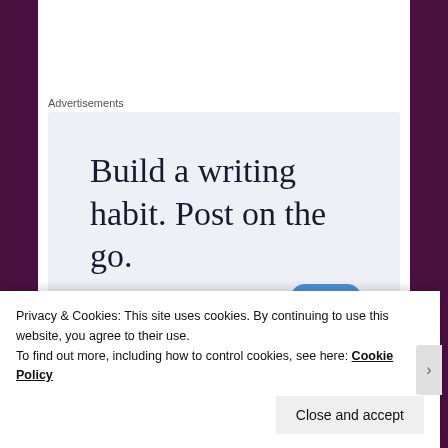Advertisements
[Figure (screenshot): Advertisement box with light blue-gray background showing text 'Build a writing habit. Post on the go.' with a blue button partially visible at bottom]
[Figure (photo): Partial view of a photo showing dense green foliage/plants]
Privacy & Cookies: This site uses cookies. By continuing to use this website, you agree to their use.
To find out more, including how to control cookies, see here: Cookie Policy
Close and accept